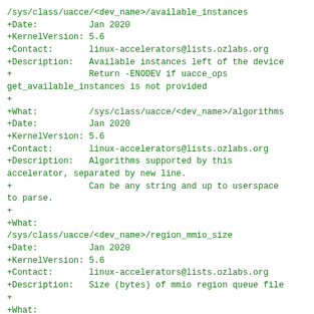/sys/class/uacce/<dev_name>/available_instances
+Date:          Jan 2020
+KernelVersion: 5.6
+Contact:       linux-accelerators@lists.ozlabs.org
+Description:   Available instances left of the device
+               Return -ENODEV if uacce_ops
get_available_instances is not provided
+
+What:          /sys/class/uacce/<dev_name>/algorithms
+Date:          Jan 2020
+KernelVersion: 5.6
+Contact:       linux-accelerators@lists.ozlabs.org
+Description:   Algorithms supported by this
accelerator, separated by new line.
+               Can be any string and up to userspace
to parse.
+
+What:
/sys/class/uacce/<dev_name>/region_mmio_size
+Date:          Jan 2020
+KernelVersion: 5.6
+Contact:       linux-accelerators@lists.ozlabs.org
+Description:   Size (bytes) of mmio region queue file
+
+What:
/sys/class/uacce/<dev_name>/region_dus_size
+Date:          Jan 2020
+KernelVersion: 5.6
+Contact:       linux-accelerators@lists.ozlabs.org
+Description:   Size (bytes) of dus region queue file